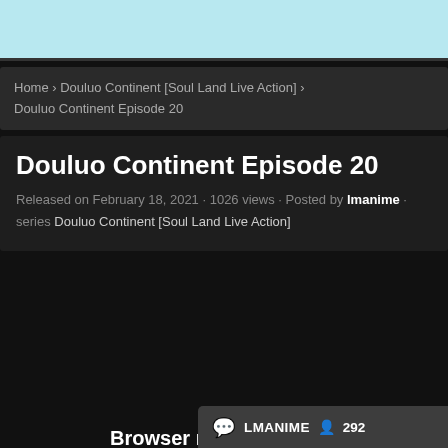[Figure (other): Light blue banner/advertisement area at the top of the page]
Home › Douluo Continent [Soul Land Live Action] › Douluo Continent Episode 20
Douluo Continent Episode 20
Released on February 18, 2021 · 1026 views · Posted by lmanime · series Douluo Continent [Soul Land Live Action]
Browser not compatible
You may need to update
LMANIME  292